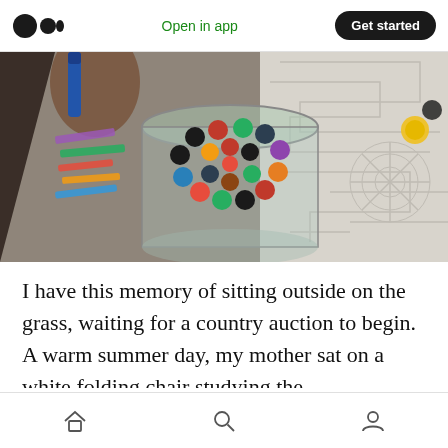Medium logo | Open in app | Get started
[Figure (photo): Overhead view of a jar filled with colorful crayons on a white surface with maze pattern, with a hand holding a blue crayon and colored paper strips visible]
I have this memory of sitting outside on the grass, waiting for a country auction to begin. A warm summer day, my mother sat on a white folding chair studying the mimeographed catalogue. From my vantage point I could see two other children, who like myself had been given
Home | Search | Profile